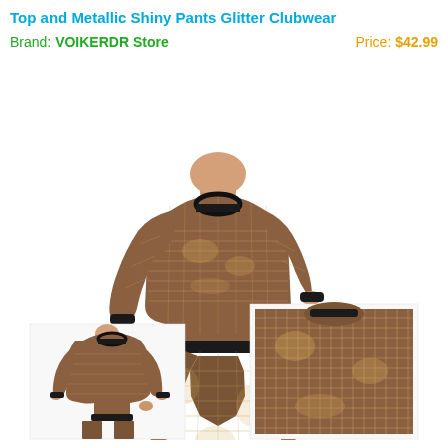Top and Metallic Shiny Pants Glitter Clubwear
Brand: VOIKERDR Store      Price: $42.99
[Figure (photo): Product listing photo of a woman wearing a metallic shiny sequin two-piece set: long-sleeve crop top and matching pants in a bronze/gold glitter fabric. Two additional thumbnail images at the bottom showing close-up views of the outfit.]